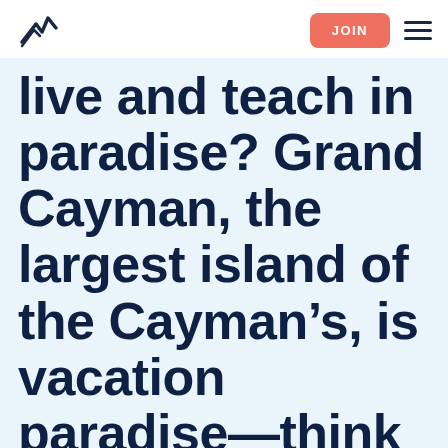JOIN
live and teach in paradise? Grand Cayman, the largest island of the Cayman’s, is vacation paradise—think beautiful beaches and lush waters for